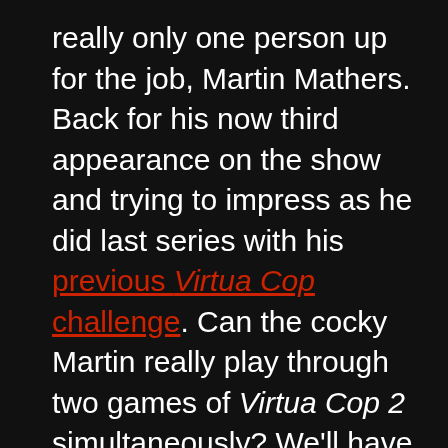really only one person up for the job, Martin Mathers. Back for his now third appearance on the show and trying to impress as he did last series with his previous Virtua Cop challenge. Can the cocky Martin really play through two games of Virtua Cop 2 simultaneously? We'll have to wait and find out as it's the news first. Sega Touring Car Championship (Arcade) is previewed. Then there's a look at a 3D TV that can display 3D images without the need for glasses, this was in 1996 too before 3D TVs became an actual thing. Even then,